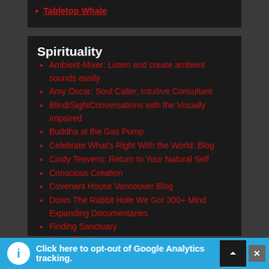Tabletop Whale
Spirituality
Ambient-Mixer: Listen and create ambient sounds easily
Amy Oscar: Soul Caller, Intuitive Consultant
Blind/SightConversations with the Visually Impaired
Buddha at the Gas Pump
Celebrate What's Right With the World: Blog
Cindy Teevens: Return to Your Natural Self
Conscious Creation
Covenant House Vancouver Blog
Down The Rabbit Hole We Go! 300+ Mind Expanding Documentaries
Finding Sanctuary
Focus@Will
Global Love Project
Click here to opt-out of Google Analytics tracking.